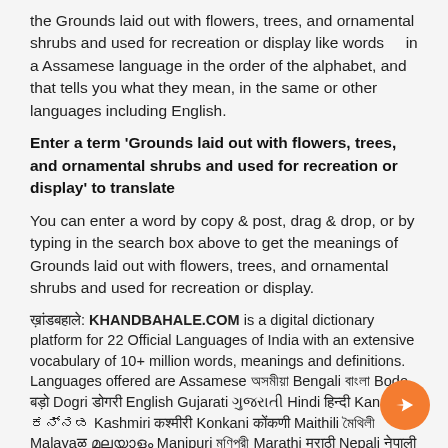the Grounds laid out with flowers, trees, and ornamental shrubs and used for recreation or display like words    in a Assamese language in the order of the alphabet, and that tells you what they mean, in the same or other languages including English.
Enter a term 'Grounds laid out with flowers, trees, and ornamental shrubs and used for recreation or display' to translate
You can enter a word by copy & post, drag & drop, or by typing in the search box above to get the meanings of Grounds laid out with flowers, trees, and ornamental shrubs and used for recreation or display.
ख़ांडबहाले: KHANDBAHALE.COM is a digital dictionary platform for 22 Official Languages of India with an extensive vocabulary of 10+ million words, meanings and definitions. Languages offered are Assamese অসমীয়া Bengali বাংলা Bodo बड़ो Dogri डोगरी English Gujarati ગુજરાતી Hindi हिन्दी Kannada ಕನ್ನಡ Kashmiri कश्मीरी Konkani कोंकणी Maithili মৈথিলী Malayalam മലയാളം Manipuri মণিপুরী Marathi मराठी Nepali नेपाली